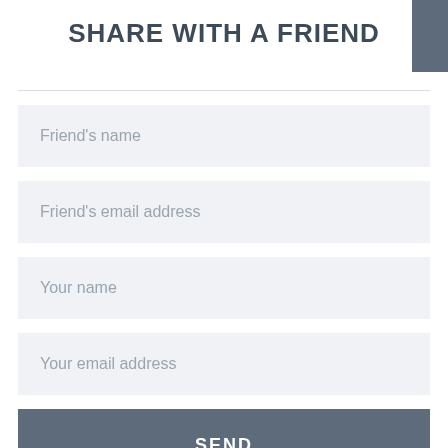SHARE WITH A FRIEND
Friend's name
Friend's email address
Your name
Your email address
SEND